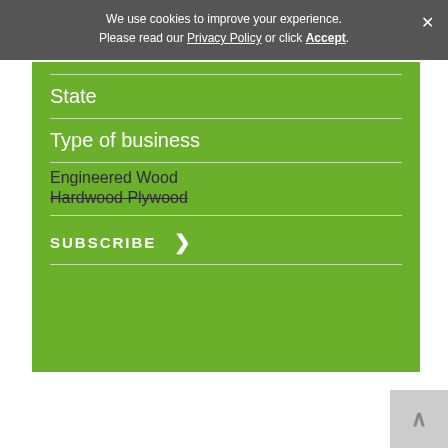We use cookies to improve your experience. Please read our Privacy Policy or click Accept.
State
Type of business
Engineered Wood
Hardwood Plywood
SUBSCRIBE >